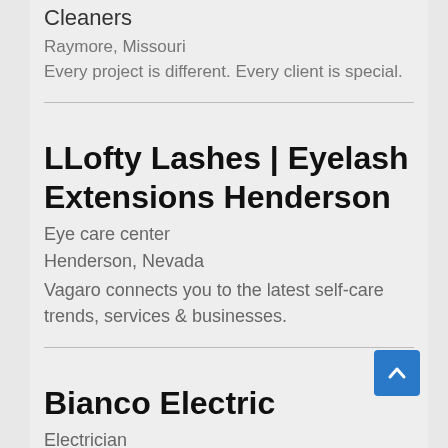Cleaners
Raymore, Missouri
Every project is different. Every client is special.
LLofty Lashes | Eyelash Extensions Henderson
Eye care center
Henderson, Nevada
Vagaro connects you to the latest self-care trends, services & businesses.
Bianco Electric
Electrician